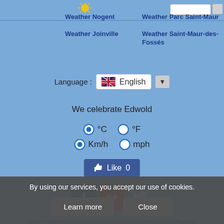Weather Nogent
Weather Joinville
Weather Parc Saint-Maur
Weather Saint-Maur-des-Fossés
Language : English
We celebrate Edwold
°C  °F  Km/h  mph
[Figure (other): Like button with thumbs up icon showing count 0]
[Figure (other): Social media icons: Facebook, Google+, Twitter]
Legal notices | No prosecution may be instituted against Weather Avenue in poor forecasts.
As part of ads or statistics, this page can store the information through cookies on your browser.
Copyright © 2011-2022 Weather Avenue
By using our services, you accept our use of cookies.
Learn more   Close